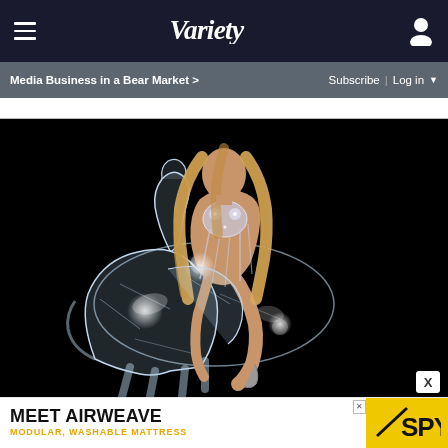Variety
Media Business in a Bear Market >
Subscribe | Log in
[Figure (photo): Woman in silver/crystal embellished outfit sitting atop a translucent crystal/glass horse sculpture against a black background — album cover art]
X
MEET AIRWEAVE MODULAR, WASHABLE MATTRESS SPY